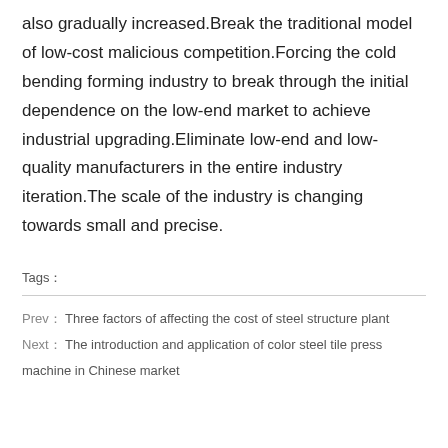also gradually increased.Break the traditional model of low-cost malicious competition.Forcing the cold bending forming industry to break through the initial dependence on the low-end market to achieve industrial upgrading.Eliminate low-end and low-quality manufacturers in the entire industry iteration.The scale of the industry is changing towards small and precise.
Tags：
Prev： Three factors of affecting the cost of steel structure plant
Next： The introduction and application of color steel tile press machine in Chinese market